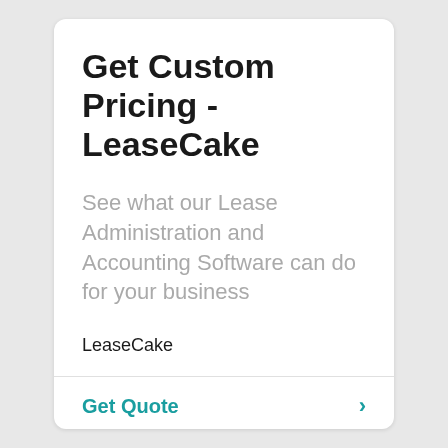Get Custom Pricing - LeaseCake
See what our Lease Administration and Accounting Software can do for your business
LeaseCake
Get Quote >